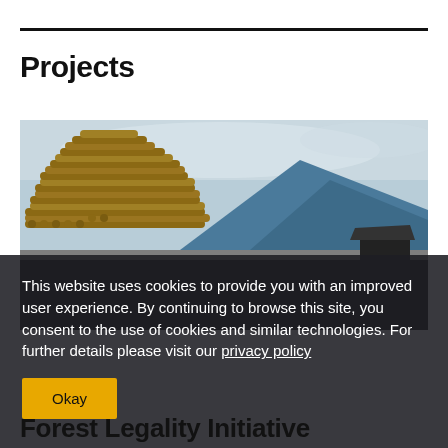Projects
[Figure (photo): A large stack of timber logs in the foreground with a mountain range and sky in the background; a dark foreground ground area below.]
This website uses cookies to provide you with an improved user experience. By continuing to browse this site, you consent to the use of cookies and similar technologies. For further details please visit our privacy policy
Okay
Forest Legality Initiative